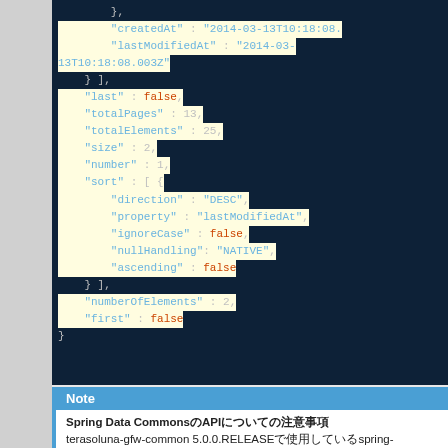[Figure (screenshot): JSON code block on dark background showing paginated API response fields: createdAt, lastModifiedAt, last, totalPages, totalElements, size, number, sort (with direction, property, ignoreCase, nullHandling, ascending), numberOfElements, first. Highlighted rows in yellow.]
Note
Spring Data CommonsのAPIについての注意事項
terasoluna-gfw-common 5.0.0.RELEASEで使用しているspring-commons(1.9.1.RELEASEまで)では 使用できるメソッドに制限があります